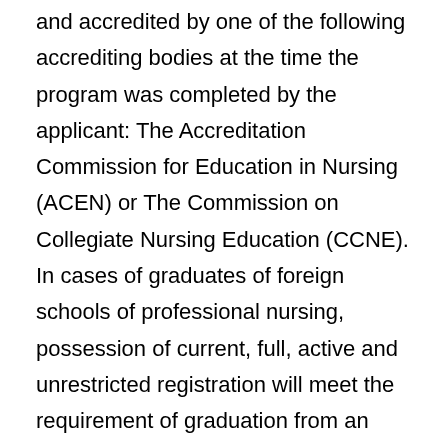and accredited by one of the following accrediting bodies at the time the program was completed by the applicant: The Accreditation Commission for Education in Nursing (ACEN) or The Commission on Collegiate Nursing Education (CCNE). In cases of graduates of foreign schools of professional nursing, possession of current, full, active and unrestricted registration will meet the requirement of graduation from an approved school of professional nursing. OR The completion of coursework equivalent to a nursing degree in a MSN Bridge Program that qualifies for professional nursing registration constitutes the completion of an approved course of study of professional nursing. Students should submit the certificate of professional nursing to sit for the NCLEX to the VA along with a copy of the MSN transcript. (Reference VA Handbook 5005, Appendix G6) OR In